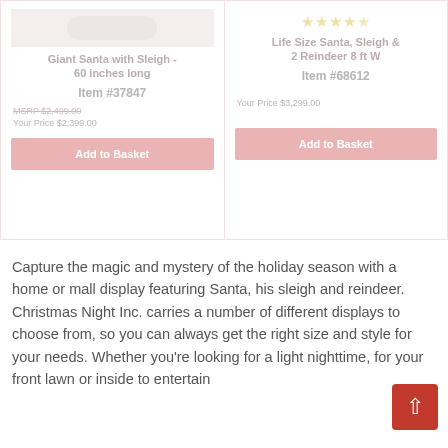[Figure (screenshot): Product card for Giant Santa with Sleigh - 60 inches long, Item #37847, MSRP $2,499.00, Your Price $2,399.00, with Add to Basket button]
[Figure (screenshot): Product card for Life Size Santa, Sleigh & 2 Reindeer 8 ft W, Item #68612, Your Price $3,299.00, with star rating and Add to Basket button]
Capture the magic and mystery of the holiday season with a home or mall display featuring Santa, his sleigh and reindeer. Christmas Night Inc. carries a number of different displays to choose from, so you can always get the right size and style for your needs. Whether you're looking for a light nighttime, for your front lawn or inside to entertain...